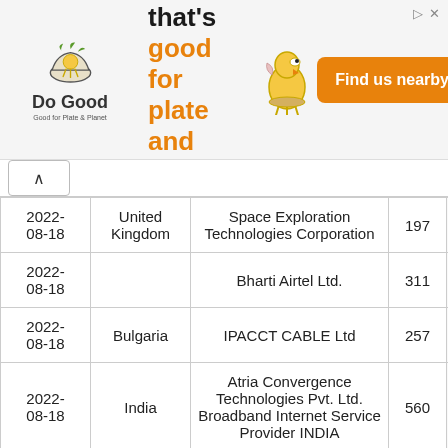[Figure (other): Advertisement banner for 'Do Good' chicken restaurant. Shows logo with chicken bowl icon, tagline 'Chicken that's good for plate and planet.' in bold with orange accent, a chicken illustration, and an orange 'Find us nearby' button.]
| Date | Country | Organization | Count |  |
| --- | --- | --- | --- | --- |
| 2022-08-18 | United Kingdom | Space Exploration Technologies Corporation | 197 |  |
| 2022-08-18 |  | Bharti Airtel Ltd. | 311 |  |
| 2022-08-18 | Bulgaria | IPACCT CABLE Ltd | 257 |  |
| 2022-08-18 | India | Atria Convergence Technologies Pvt. Ltd. Broadband Internet Service Provider INDIA | 560 |  |
| 2022-08-18 | Ukraine | LLC DataNet ISP | 221 |  |